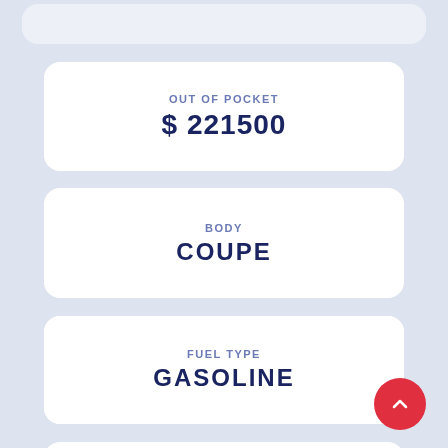OUT OF POCKET
$ 221500
BODY
COUPE
FUEL TYPE
GASOLINE
TRANSMISSION
AUTOMATIC